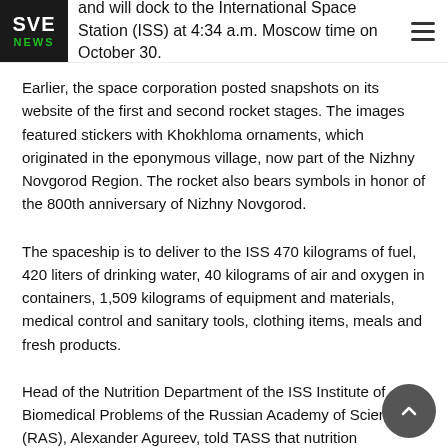and will dock to the International Space Station (ISS) at 4:34 a.m. Moscow time on October 30.
[Figure (logo): SVE NEWS logo — white SVE text and green NEWS text on black background]
Earlier, the space corporation posted snapshots on its website of the first and second rocket stages. The images featured stickers with Khokhloma ornaments, which originated in the eponymous village, now part of the Nizhny Novgorod Region. The rocket also bears symbols in honor of the 800th anniversary of Nizhny Novgorod.
The spaceship is to deliver to the ISS 470 kilograms of fuel, 420 liters of drinking water, 40 kilograms of air and oxygen in containers, 1,509 kilograms of equipment and materials, medical control and sanitary tools, clothing items, meals and fresh products.
Head of the Nutrition Department of the ISS Institute of Biomedical Problems of the Russian Academy of Sciences (RAS), Alexander Agureev, told TASS that nutrition packages, which include ready-made meal kits for the New Year's table will be delivered on the